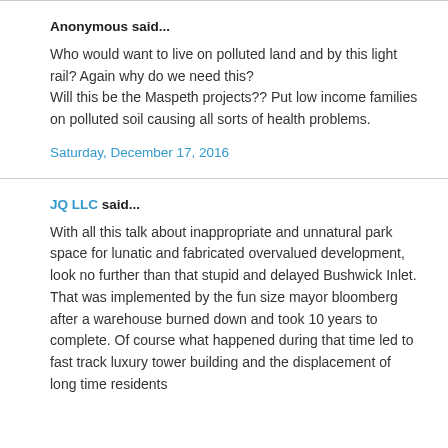Anonymous said...
Who would want to live on polluted land and by this light rail? Again why do we need this?
Will this be the Maspeth projects?? Put low income families on polluted soil causing all sorts of health problems.
Saturday, December 17, 2016
JQ LLC said...
With all this talk about inappropriate and unnatural park space for lunatic and fabricated overvalued development, look no further than that stupid and delayed Bushwick Inlet. That was implemented by the fun size mayor bloomberg after a warehouse burned down and took 10 years to complete. Of course what happened during that time led to fast track luxury tower building and the displacement of long time residents